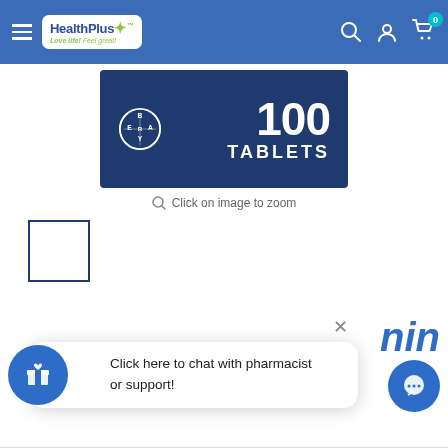[Figure (screenshot): HealthPlus pharmacy website navigation bar with logo, hamburger menu, search, account, and cart icons]
[Figure (photo): Bayer product box showing 100 Tablets on dark blue background with Bayer logo circle]
Click on image to zoom
[Figure (photo): Small thumbnail of Bayer product, empty/white box with blue border]
min
BAYER
Click here to chat with pharmacist or support!